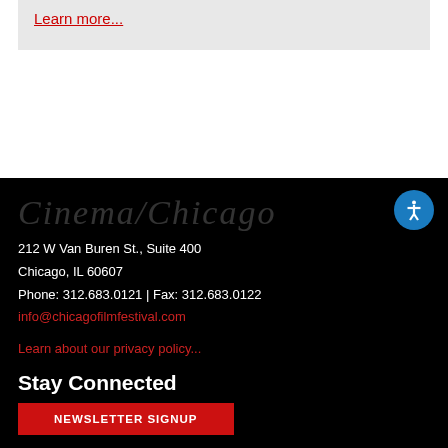Learn more...
[Figure (logo): Cinema/Chicago script logo text in faint white italic on black background]
212 W Van Buren St., Suite 400
Chicago, IL 60607
Phone: 312.683.0121 | Fax: 312.683.0122
info@chicagofilmfestival.com
Learn about our privacy policy...
Stay Connected
NEWSLETTER SIGNUP